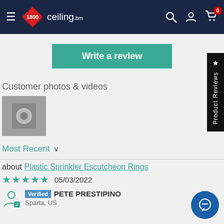1800ceiling.bm navigation bar with logo, search, account, and cart icons
Write a review
Customer photos & videos
[Figure (photo): Thumbnail photo of a ceiling sprinkler escutcheon ring mounted on ceiling]
★ Product Reviews
Most Recent ∨
about Plastic Sprinkler Escutcheon Rings
★★★★★ 05/03/2022
Verified PETE PRESTIPINO
Sparta, US